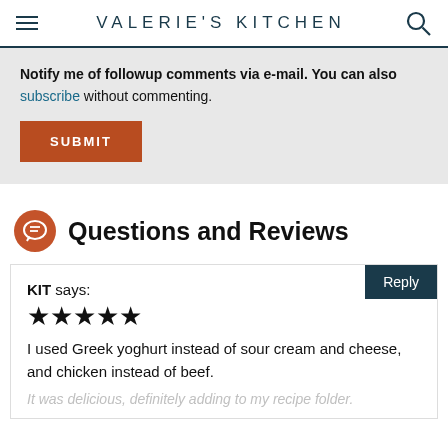VALERIE'S KITCHEN
Notify me of followup comments via e-mail. You can also subscribe without commenting.
SUBMIT
Questions and Reviews
KIT says:
★★★★★
I used Greek yoghurt instead of sour cream and cheese, and chicken instead of beef.
It was delicious, definitely adding to my recipe folder.